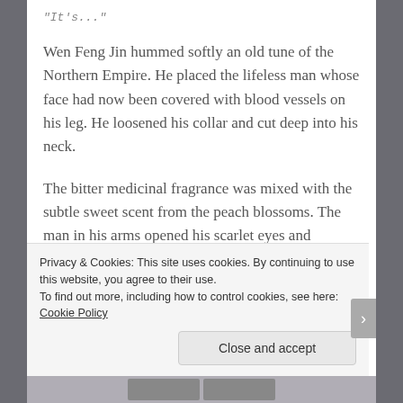"It's..."
Wen Feng Jin hummed softly an old tune of the Northern Empire. He placed the lifeless man whose face had now been covered with blood vessels on his leg. He loosened his collar and cut deep into his neck.
The bitter medicinal fragrance was mixed with the subtle sweet scent from the peach blossoms. The man in his arms opened his scarlet eyes and
Privacy & Cookies: This site uses cookies. By continuing to use this website, you agree to their use.
To find out more, including how to control cookies, see here: Cookie Policy
Close and accept